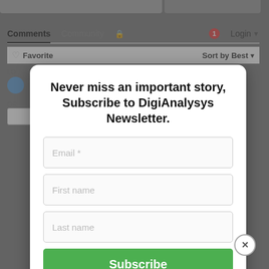[Figure (screenshot): Website screenshot showing Comments/Community navigation bar with Login button, partial comments section with Favorite and Sort by Best options, overlaid by a newsletter subscription modal dialog]
Never miss an important story, Subscribe to DigiAnalysys Newsletter.
Email *
First name
Last name
Subscribe